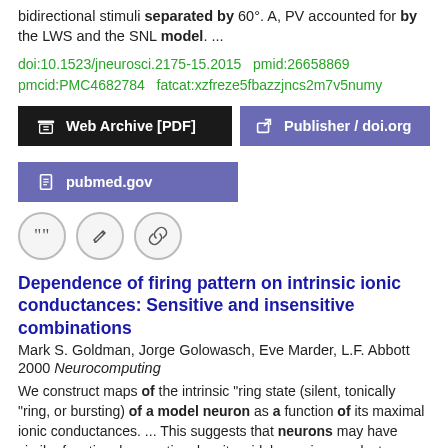bidirectional stimuli separated by 60°. A, PV accounted for by the LWS and the SNL model.  ...
doi:10.1523/jneurosci.2175-15.2015  pmid:26658869
pmcid:PMC4682784  fatcat:xzfreze5fbazzjncs2m7v5numy
[Figure (other): Web Archive [PDF] button (black), Publisher / doi.org button (purple), pubmed.gov button (purple)]
[Figure (other): Three circular icon buttons: quote, edit, link]
Dependence of firing pattern on intrinsic ionic conductances: Sensitive and insensitive combinations
Mark S. Goldman, Jorge Golowasch, Eve Marder, L.F. Abbott
2000 Neurocomputing
We construct maps of the intrinsic "ring state (silent, tonically "ring, or bursting) of a model neuron as a function of its maximal ionic conductances.  ...  This suggests that neurons may have similar functional properties despite widely varying conductance densities.  ...  Acknowledgements This work was supported by Grants MH 46742, NSF-IBN-9817194, and the W.M. Keck Foundation.  ...
doi:10.1016/s0925-2312(00)00155-7